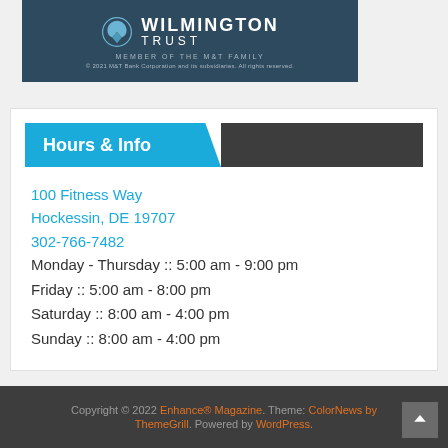[Figure (logo): Wilmington Trust logo banner with dark blue background, logo icon, WILMINGTON TRUST text, MEMBER OF THE M&T FAMILY tagline, and copyright notice]
Hours & Info
100 Fitness Way
Hockessin, DE 19707
302-766-7482
Monday - Thursday :: 5:00 am - 9:00 pm
Friday :: 5:00 am - 8:00 pm
Saturday :: 8:00 am - 4:00 pm
Sunday :: 8:00 am - 4:00 pm
Copyright © 2022 Enhance® Magazine. Theme: ColorNews by ThemeGrill. Powered by WordPress.